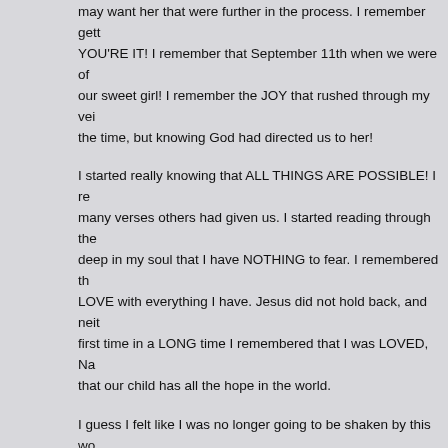may want her that were further in the process. I remember gett YOU'RE IT! I remember that September 11th when we were of our sweet girl! I remember the JOY that rushed through my vei the time, but knowing God had directed us to her!
I started really knowing that ALL THINGS ARE POSSIBLE! I re many verses others had given us. I started reading through the deep in my soul that I have NOTHING to fear. I remembered th LOVE with everything I have. Jesus did not hold back, and neit first time in a LONG time I remembered that I was LOVED, Na that our child has all the hope in the world.
I guess I felt like I was no longer going to be shaken by this wo because I know we are doing what God called us to do! We wil families have been checking on our little Naomi for us....and I c THANK YOU!!!!!!! So we have word on her and a few pics- whi again ALL OVER OUR HOME!!!!!! This is on, and we are going Will, and not be deterred by ANYTHING!
So....we will continue in HIS WILL and do what needs to be don to get on, and be on our knees in HIS WORSHIP! There is noth battle that makes you realize- THIS IS VALUABLE- so VALUA